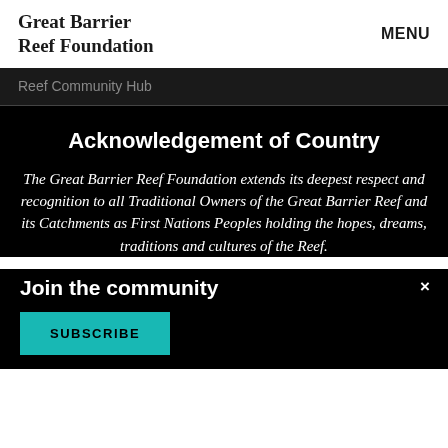Great Barrier Reef Foundation | MENU
Reef Community Hub
Acknowledgement of Country
The Great Barrier Reef Foundation extends its deepest respect and recognition to all Traditional Owners of the Great Barrier Reef and its Catchments as First Nations Peoples holding the hopes, dreams, traditions and cultures of the Reef.
Join the community
SUBSCRIBE